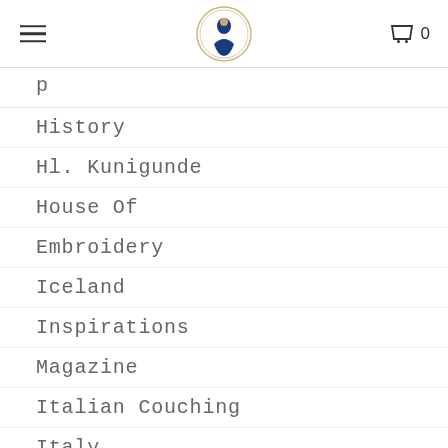Navigation header with hamburger menu, logo, and cart icon showing 0
History
Hl. Kunigunde
House Of
Embroidery
Iceland
Inspirations
Magazine
Italian Couching
Italy
Jen Goodwin
Jewellry
Journal Of Dress